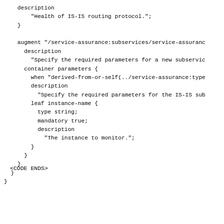description
        "Health of IS-IS routing protocol.";
    }

    augment "/service-assurance:subservices/service-assuranc
      description
        "Specify the required parameters for a new subservic
      container parameters {
        when "derived-from-or-self(../service-assurance:type
        description
          "Specify the required parameters for the IS-IS sub
        leaf instance-name {
          type string;
          mandatory true;
          description
            "The instance to monitor.";
        }
      }
    }
  }
}
<CODE ENDS>